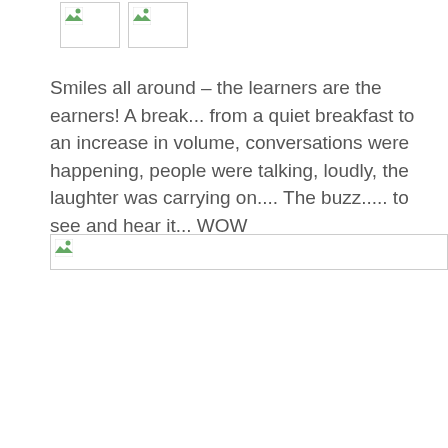[Figure (photo): Two broken/unloaded image placeholders at the top of the page]
Smiles all around – the learners are the earners! A break... from a quiet breakfast to an increase in volume, conversations were happening, people were talking, loudly, the laughter was carrying on.... The buzz..... to see and hear it... WOW
[Figure (photo): One broken/unloaded image placeholder at the bottom of the text block]